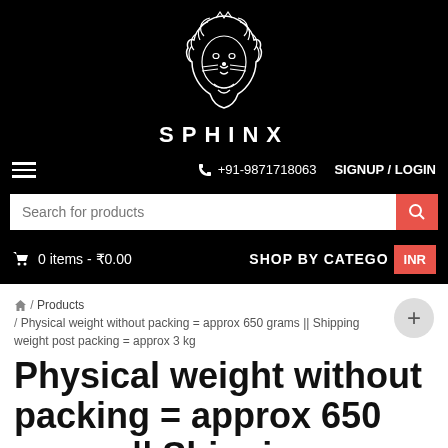[Figure (logo): Sphinx brand logo: white lion head illustration on black background with the word SPHINX in white bold letters below]
☰  📞 +91-9871718063   SIGNUP / LOGIN
Search for products
🛒 0 items - ₹0.00   SHOP BY CATEGO   INR
🏠 / Products / Physical weight without packing = approx 650 grams || Shipping weight post packing = approx 3 kg
Physical weight without packing = approx 650 grams || Shipping weight